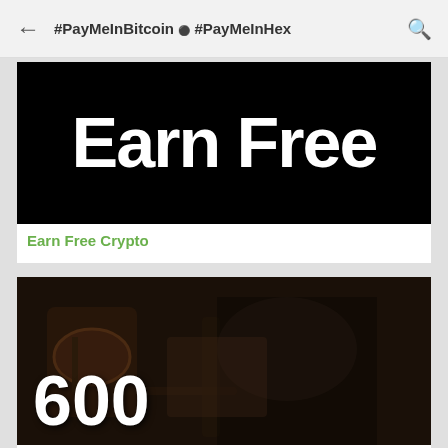← #PayMeInBitcoin ● #PayMeInHex 🔍
[Figure (illustration): Black banner image with large white bold text reading 'Earn Free']
Earn Free Crypto
[Figure (photo): Dark photo of a man sitting with drums in background, large white bold text overlay reading '600']
600 Breezy: God Let King Von Die Because He Would've Gotten Life in Prison for RICO (Part 15)